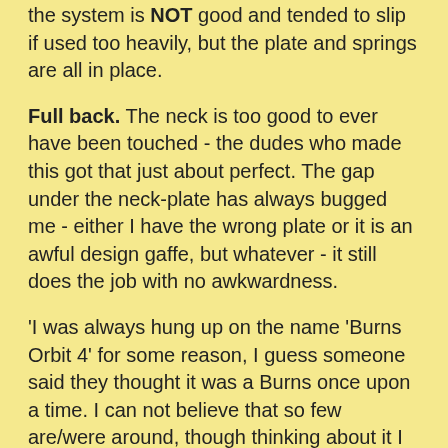the system is NOT good and tended to slip if used too heavily, but the plate and springs are all in place.
Full back. The neck is too good to ever have been touched - the dudes who made this got that just about perfect. The gap under the neck-plate has always bugged me - either I have the wrong plate or it is an awful design gaffe, but whatever - it still does the job with no awkwardness.
'I was always hung up on the name 'Burns Orbit 4' for some reason, I guess someone said they thought it was a Burns once upon a time. I can not believe that so few are/were around, though thinking about it I bought it in 1969 or 1970 in a junk shop in Finsbury Park for next to nothing when it could only have been, what? 10 years old maximum? I guess in those days if it wasn't Fender minimalist or Gibson luxurious it wasn't in with a chance. Lets face it, they looked more like accordians than guitars, bloody great tab/rocker switches and